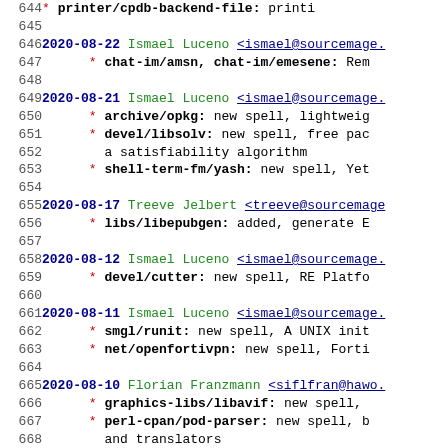644   * printer/cpdb-backend-file: printi...
645
646 2020-08-22 Ismael Luceno <ismael@sourcemage....
647       * chat-im/amsn, chat-im/emesene: Rem...
648
649 2020-08-21 Ismael Luceno <ismael@sourcemage....
650       * archive/opkg: new spell, lightweig...
651       * devel/libsolv: new spell, free pac...
652         a satisfiability algorithm
653       * shell-term-fm/yash: new spell, Yet...
654
655 2020-08-17 Treeve Jelbert <treeve@sourcemage...
656       * libs/libepubgen: added, generate E...
657
658 2020-08-12 Ismael Luceno <ismael@sourcemage....
659       * devel/cutter: new spell, RE Platfo...
660
661 2020-08-11 Ismael Luceno <ismael@sourcemage....
662       * smgl/runit: new spell, A UNIX init...
663       * net/openfortivpn: new spell, Forti...
664
665 2020-08-10 Florian Franzmann <siflfran@hawo....
666       * graphics-libs/libavif: new spell,...
667       * perl-cpan/pod-parser: new spell, b...
668         and translators
669
670 2020-08-09 David C. Haley <khoralin@gmail.c...
671       * devel/jemalloc: new spell, general...
672
673 2020-08-08 David C. Haley <khoralin@gmail.co...